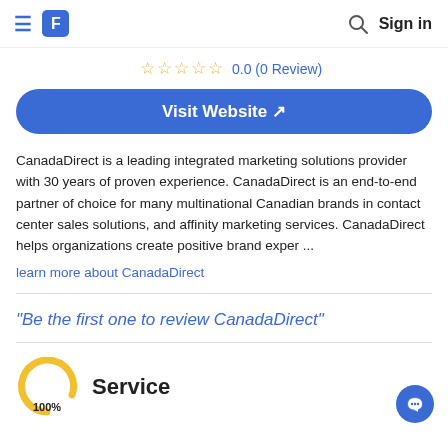≡ F   🔍 Sign in
☆☆☆☆☆ 0.0 (0 Review)
Visit Website ↗
CanadaDirect is a leading integrated marketing solutions provider with 30 years of proven experience. CanadaDirect is an end-to-end partner of choice for many multinational Canadian brands in contact center sales solutions, and affinity marketing services. CanadaDirect helps organizations create positive brand exper ...
learn more about CanadaDirect
"Be the first one to review CanadaDirect"
Service
100%